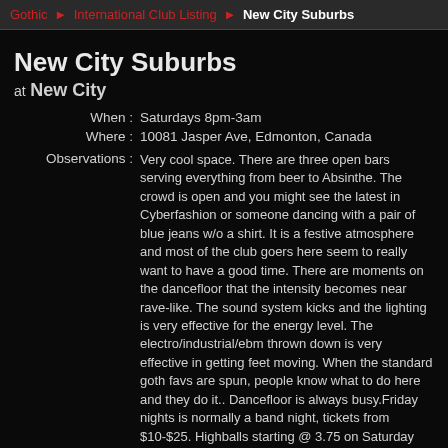Gothic ▸ International Club Listing ▸ New City Suburbs
New City Suburbs
at New City
When : Saturdays 8pm-3am
Where : 10081 Jasper Ave, Edmonton, Canada
Observations : Very cool space. There are three open bars serving everything from beer to Absinthe. The crowd is open and you might see the latest in Cyberfashion or someone dancing with a pair of blue jeans w/o a shirt. It is a festive atmosphere and most of the club goers here seem to really want to have a good time. There are moments on the dancefloor that the intensity becomes near rave-like. The sound system kicks and the lighting is very effective for the energy level. The electro/industrial/ebm thrown down is very effective in getting feet moving. When the standard goth favs are spun, people know what to do here and they do it.. Dancefloor is always busy.Friday nights is normally a band night, tickets from $10-$25. Highballs starting @ 3.75 on Saturday nights.
DJs : Nik Romantic
Cover : $5